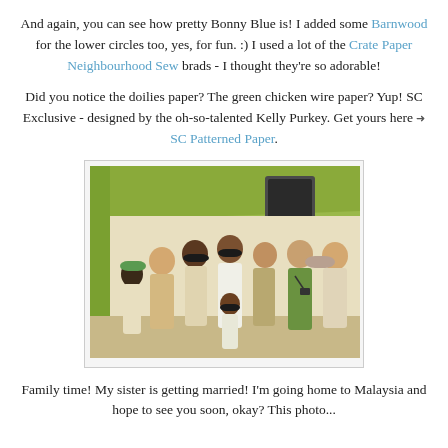And again, you can see how pretty Bonny Blue is! I added some Barnwood for the lower circles too, yes, for fun. :) I used a lot of the Crate Paper Neighbourhood Sew brads - I thought they're so adorable!
Did you notice the doilies paper? The green chicken wire paper? Yup! SC Exclusive - designed by the oh-so-talented Kelly Purkey. Get yours here ➨ SC Patterned Paper.
[Figure (photo): A family group photo with approximately 8 people wearing traditional Malay clothing (baju kurung and baju melayu) in cream/gold and green colors, standing together indoors with a green decorated backdrop.]
Family time! My sister is getting married! I'm going home to Malaysia and hope to see you soon, okay? This photo...